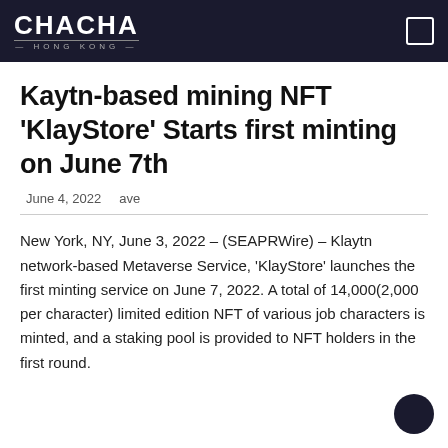CHACHA HONG KONG
Kaytn-based mining NFT ‘KlayStore’ Starts first minting on June 7th
June 4, 2022   ave
New York, NY, June 3, 2022 – (SEAPRWire) – Klaytn network-based Metaverse Service, ‘KlayStore’ launches the first minting service on June 7, 2022. A total of 14,000(2,000 per character) limited edition NFT of various job characters is minted, and a staking pool is provided to NFT holders in the first round.